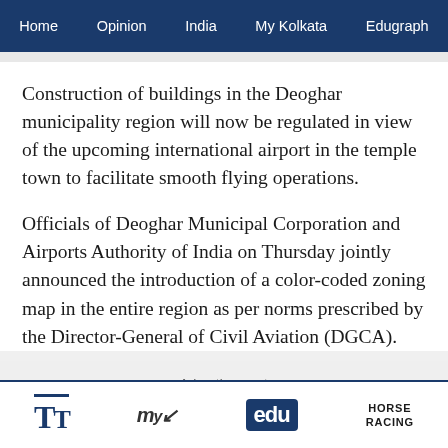Home  Opinion  India  My Kolkata  Edugraph
Construction of buildings in the Deoghar municipality region will now be regulated in view of the upcoming international airport in the temple town to facilitate smooth flying operations.
Officials of Deoghar Municipal Corporation and Airports Authority of India on Thursday jointly announced the introduction of a color-coded zoning map in the entire region as per norms prescribed by the Director-General of Civil Aviation (DGCA).
Advertisement
TT  My  edu  HORSE RACING